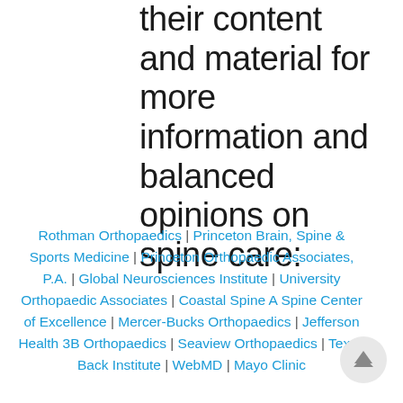their content and material for more information and balanced opinions on spine care:
Rothman Orthopaedics | Princeton Brain, Spine & Sports Medicine | Princeton Orthopaedic Associates, P.A. | Global Neurosciences Institute | University Orthopaedic Associates | Coastal Spine A Spine Center of Excellence | Mercer-Bucks Orthopaedics | Jefferson Health 3B Orthopaedics | Seaview Orthopaedics | Texas Back Institute | WebMD | Mayo Clinic